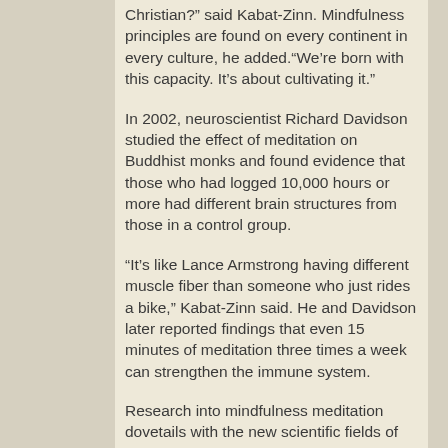Christian?' said Kabat-Zinn. Mindfulness principles are found on every continent in every culture, he added."We're born with this capacity. It's about cultivating it."
In 2002, neuroscientist Richard Davidson studied the effect of meditation on Buddhist monks and found evidence that those who had logged 10,000 hours or more had different brain structures from those in a control group.
"It's like Lance Armstrong having different muscle fiber than someone who just rides a bike," Kabat-Zinn said. He and Davidson later reported findings that even 15 minutes of meditation three times a week can strengthen the immune system.
Research into mindfulness meditation dovetails with the new scientific fields of neuroplasticity, the brain's ability to change...